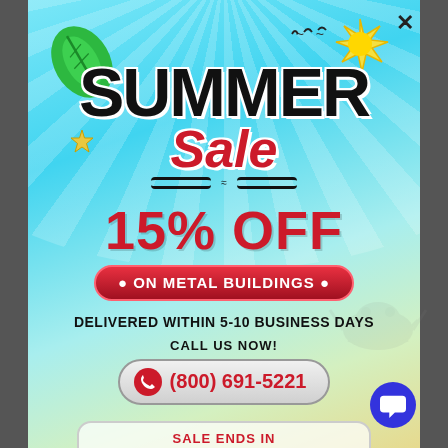[Figure (illustration): Summer Sale promotional popup with sky/beach gradient background, tropical leaf, sun, birds, star decorations]
SUMMER Sale
15% OFF
• ON METAL BUILDINGS •
DELIVERED WITHIN 5-10 BUSINESS DAYS
CALL US NOW!
(800) 691-5221
SALE ENDS IN
1 : 21 : 48 : 59
DAYS  HRS  MIN  SEC
*Offer Valid in the Limited States Only*